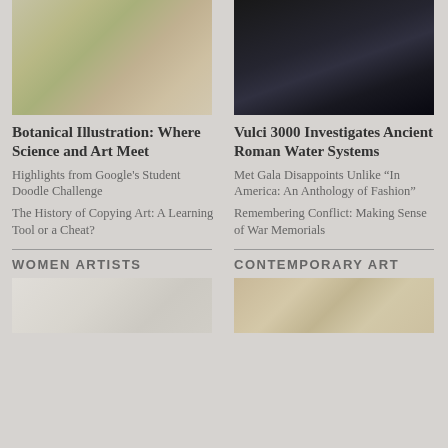[Figure (photo): Botanical illustration of eggplants and vegetables with colorful produce on a light background]
Botanical Illustration: Where Science and Art Meet
Highlights from Google's Student Doodle Challenge
The History of Copying Art: A Learning Tool or a Cheat?
[Figure (photo): Dark photograph of a bird or animal figure against a very dark background]
Vulci 3000 Investigates Ancient Roman Water Systems
Met Gala Disappoints Unlike “In America: An Anthology of Fashion”
Remembering Conflict: Making Sense of War Memorials
WOMEN ARTISTS
[Figure (photo): Partial bottom image under Women Artists section, light tones]
CONTEMPORARY ART
[Figure (photo): Partial bottom image under Contemporary Art section, warm grid-like tones]